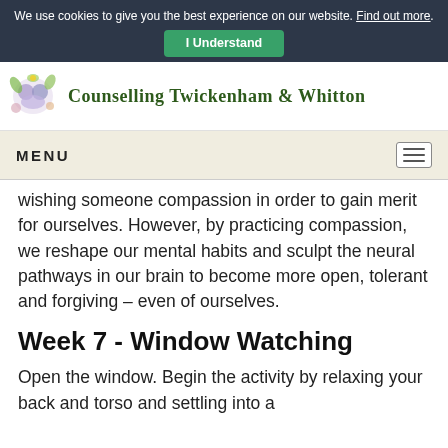We use cookies to give you the best experience on our website. Find out more. I Understand
[Figure (logo): Counselling Twickenham & Whitton logo with floral illustration and green text]
MENU
wishing someone compassion in order to gain merit for ourselves. However, by practicing compassion, we reshape our mental habits and sculpt the neural pathways in our brain to become more open, tolerant and forgiving – even of ourselves.
Week 7 - Window Watching
Open the window. Begin the activity by relaxing your back and torso and settling into a